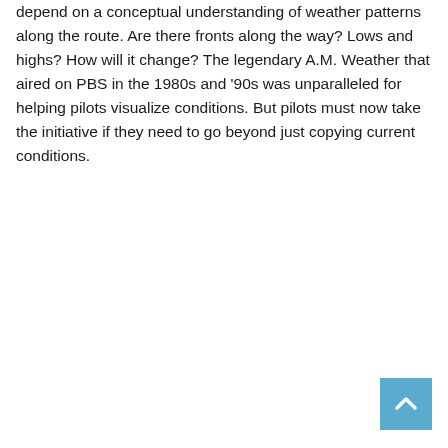depend on a conceptual understanding of weather patterns along the route. Are there fronts along the way? Lows and highs? How will it change? The legendary A.M. Weather that aired on PBS in the 1980s and ‘90s was unparalleled for helping pilots visualize conditions. But pilots must now take the initiative if they need to go beyond just copying current conditions.